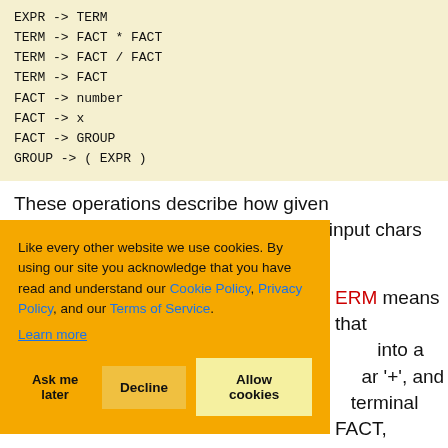EXPR -> TERM
TERM -> FACT * FACT
TERM -> FACT / FACT
TERM -> FACT
FACT -> number
FACT -> x
FACT -> GROUP
GROUP -> ( EXPR )
These operations describe how given expressions are built - how the set of input chars (non-terminals) can be reduced into smaller constructs (terminals - like '+', and terminal FACT, a number, a GROUP.
Like every other website we use cookies. By using our site you acknowledge that you have read and understand our Cookie Policy, Privacy Policy, and our Terms of Service. Learn more
ERM means that into a ar '+', and terminal FACT, umber, a ROUP.